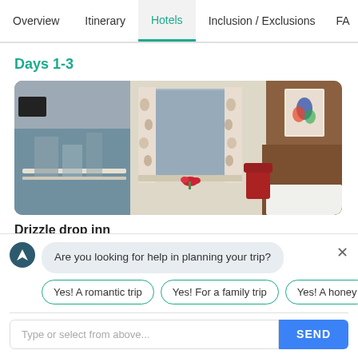Overview | Itinerary | Hotels | Inclusion / Exclusions | FAQ
Days 1-3
[Figure (photo): Hotel room interior photo showing a window with floral curtains, a view of buildings outside, warm wooden furniture, a painting on the wall, and a vase of red flowers on a windowsill.]
Drizzle drop inn
★★★☆
Are you looking for help in planning your trip?
Yes! A romantic trip
Yes! For a family trip
Yes! A honeymoon
Type or select from above...
SEND